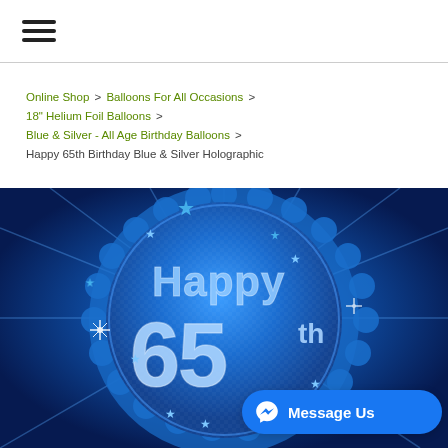Navigation menu (hamburger icon)
Online Shop > Balloons For All Occasions > 18" Helium Foil Balloons > Blue & Silver - All Age Birthday Balloons > Happy 65th Birthday Blue & Silver Holographic
[Figure (photo): A blue holographic round foil balloon with scalloped edges showing 'Happy 65th' text with star decorations and shimmering holographic design. Stars and sparkle effects on blue background.]
Message Us